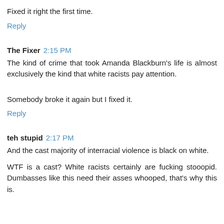Fixed it right the first time.
Reply
The Fixer  2:15 PM
The kind of crime that took Amanda Blackburn's life is almost exclusively the kind that white racists pay attention.
Somebody broke it again but I fixed it.
Reply
teh stupid  2:17 PM
And the cast majority of interracial violence is black on white.
WTF is a cast? White racists certainly are fucking stooopid. Dumbasses like this need their asses whooped, that's why this is.